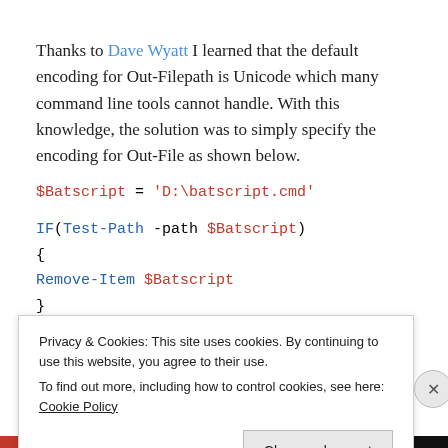Thanks to Dave Wyatt I learned that the default encoding for Out-Filepath is Unicode which many command line tools cannot handle. With this knowledge, the solution was to simply specify the encoding for Out-File as shown below.
$Batscript = 'D:\batscript.cmd'
IF(Test-Path -path $Batscript)
{
Remove-Item $Batscript
}
Privacy & Cookies: This site uses cookies. By continuing to use this website, you agree to their use.
To find out more, including how to control cookies, see here: Cookie Policy
Close and accept